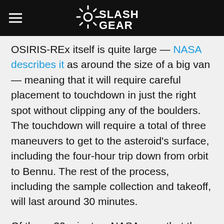SlashGear
OSIRIS-REx itself is quite large — NASA describes it as around the size of a big van — meaning that it will require careful placement to touchdown in just the right spot without clipping any of the boulders. The touchdown will require a total of three maneuvers to get to the asteroid's surface, including the four-hour trip down from orbit to Bennu. The rest of the process, including the sample collection and takeoff, will last around 30 minutes.
Of those 30 minutes, NASA says that the actual collection event will involve the spacecraft touching down on Bennu for a grand total of 16 seconds. A pressurized nitrogen bottle will be used to essentially blast some of the surface gravel upwards, where it will